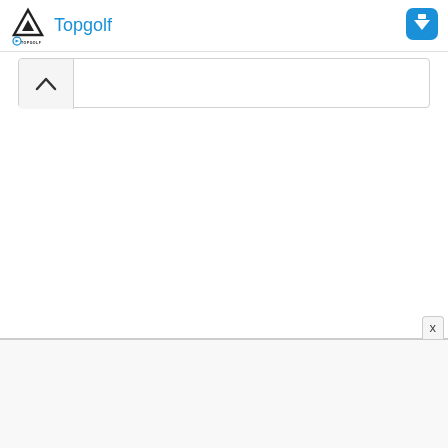Topgolf
[Figure (screenshot): Topgolf app/web interface showing a collapsed panel with a chevron up button and a close (X) button at the bottom. The header shows the Topgolf logo and brand name in blue, with a blue location/navigation icon on the top right.]